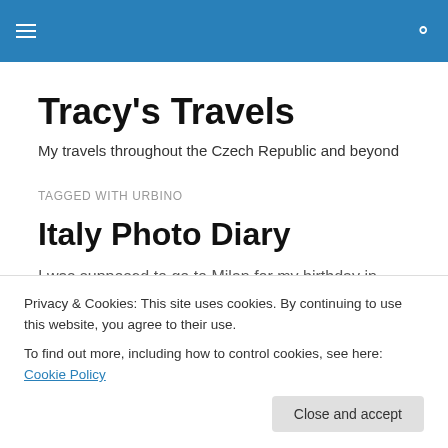Tracy's Travels — navigation bar with hamburger menu and search icon
Tracy's Travels
My travels throughout the Czech Republic and beyond
TAGGED WITH URBINO
Italy Photo Diary
I was supposed to go to Milan for my birthday in
Privacy & Cookies: This site uses cookies. By continuing to use this website, you agree to their use.
To find out more, including how to control cookies, see here: Cookie Policy
Close and accept